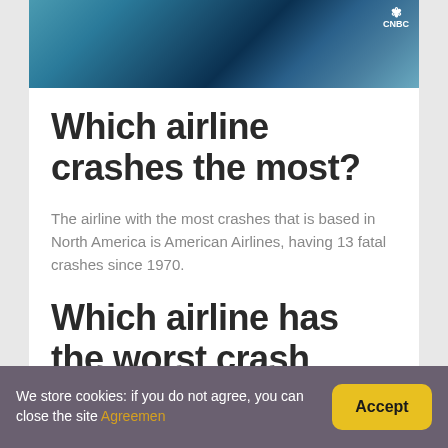[Figure (screenshot): CNBC video thumbnail screenshot showing an airplane, with CNBC peacock logo in upper right corner]
Which airline crashes the most?
The airline with the most crashes that is based in North America is American Airlines, having 13 fatal crashes since 1970.
Which airline has the worst crash record?
We store cookies: if you do not agree, you can close the site Agreemen
Accept